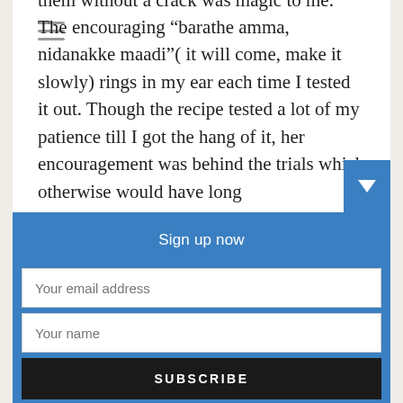[Figure (other): Hamburger menu icon with three horizontal gray lines]
millet flour rolls and perfectly removed them without a crack was magic to me. The encouraging “barathe amma, nidanakke maadi”( it will come, make it slowly) rings in my ear each time I tested it out. Though the recipe tested a lot of my patience till I got the hang of it, her encouragement was behind the trials which otherwise would have long
Sign up now
Your email address
Your name
SUBSCRIBE